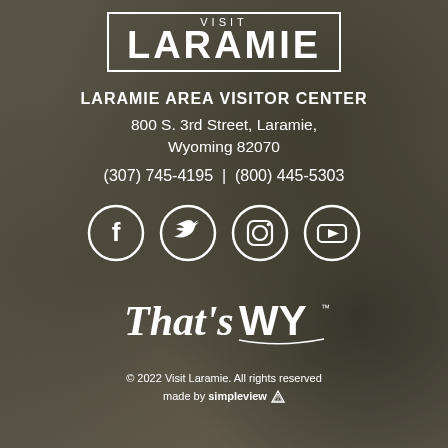VISIT LARAMIE
LARAMIE AREA VISITOR CENTER
800 S. 3rd Street, Laramie, Wyoming 82070
(307) 745-4195  |  (800) 445-5303
[Figure (illustration): Social media icons: Facebook, Twitter, Instagram, YouTube — white circle outlines on background]
[Figure (logo): That's WY logo in white script/serif text]
© 2022 Visit Laramie. All rights reserved
made by simpleview